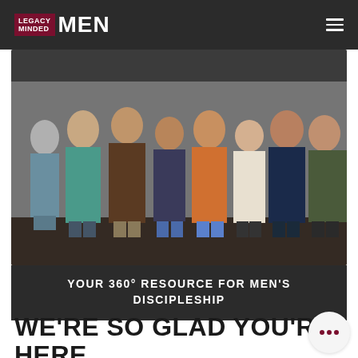[Figure (logo): Legacy Minded Men logo — dark navbar with red block text 'LEGACY MINDED' and white bold text 'MEN']
[Figure (photo): Group of eight men standing against a wall, various ages and ethnicities, with a dark overlay and a white down-arrow button in the lower left]
YOUR 360° RESOURCE FOR MEN'S DISCIPLESHIP
WE'RE SO GLAD YOU'RE HERE